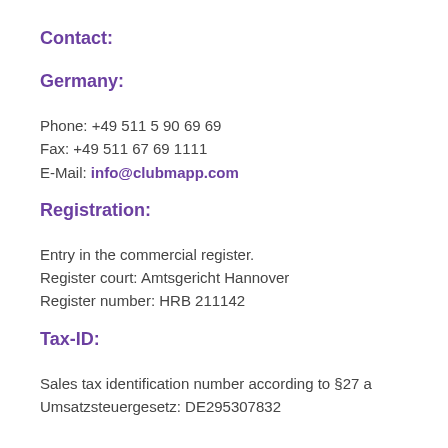Contact:
Germany:
Phone: +49 511 5 90 69 69
Fax: +49 511 67 69 1111
E-Mail: info@clubmapp.com
Registration:
Entry in the commercial register.
Register court: Amtsgericht Hannover
Register number: HRB 211142
Tax-ID:
Sales tax identification number according to §27 a Umsatzsteuergesetz: DE295307832